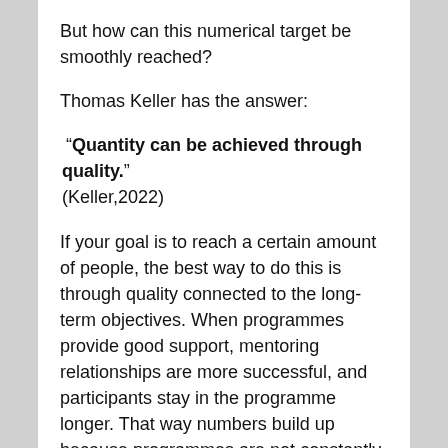But how can this numerical target be smoothly reached?
Thomas Keller has the answer:
“Quantity can be achieved through quality.” (Keller,2022)
If your goal is to reach a certain amount of people, the best way to do this is through quality connected to the long-term objectives. When programmes provide good support, mentoring relationships are more successful, and participants stay in the programme longer. That way numbers build up because programmes are not constantly replacing lost matches.
He also pointed out that ‘Programs that want to improve their quality should start with their staff’. Staff should be well-qualified and well-supported so that practitioners enjoy their work because participants